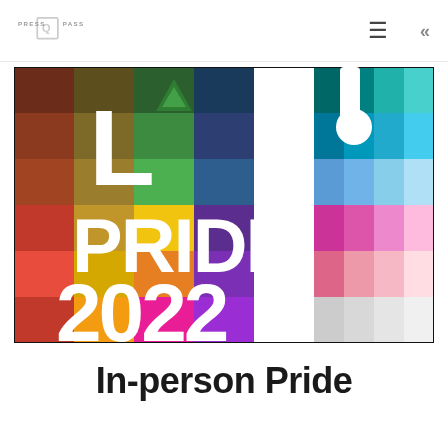PRESS PASS
[Figure (logo): LA! PRIDE 2022 colorful mosaic logo with rainbow-colored grid of squares and bold white text reading LA! PRIDE 2022]
In-person Pride